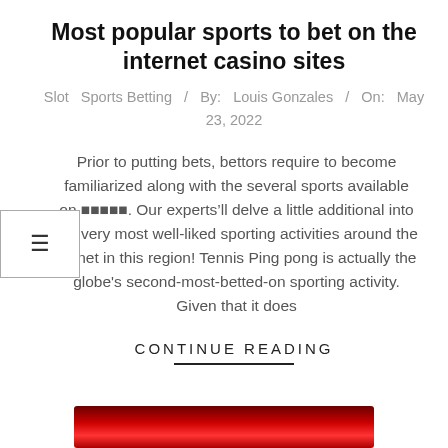Most popular sports to bet on the internet casino sites
Slot  Sports Betting  /  By:  Louis Gonzales  /  On:  May 23, 2022
Prior to putting bets, bettors require to become familiarized along with the several sports available on ■■■■■. Our experts’ll delve a little additional into the very most well-liked sporting activities around the planet in this region! Tennis Ping pong is actually the globe's second-most-betted-on sporting activity. Given that it does
CONTINUE READING
[Figure (photo): Red background image at the bottom of the page]